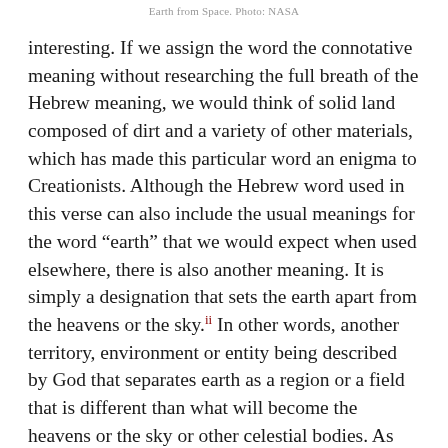Earth from Space. Photo: NASA
interesting. If we assign the word the connotative meaning without researching the full breath of the Hebrew meaning, we would think of solid land composed of dirt and a variety of other materials, which has made this particular word an enigma to Creationists. Although the Hebrew word used in this verse can also include the usual meanings for the word “earth” that we would expect when used elsewhere, there is also another meaning. It is simply a designation that sets the earth apart from the heavens or the sky.²² In other words, another territory, environment or entity being described by God that separates earth as a region or a field that is different than what will become the heavens or the sky or other celestial bodies. As NASA explores the cosmos looking for signs of life and environments similar to